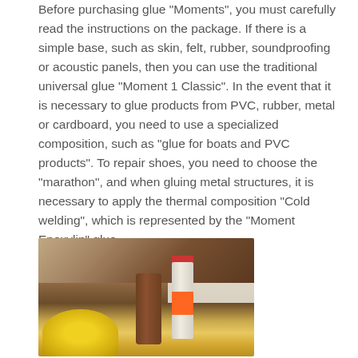Before purchasing glue "Moments", you must carefully read the instructions on the package. If there is a simple base, such as skin, felt, rubber, soundproofing or acoustic panels, then you can use the traditional universal glue “Moment 1 Classic”. In the event that it is necessary to glue products from PVC, rubber, metal or cardboard, you need to use a specialized composition, such as “glue for boats and PVC products”. To repair shoes, you need to choose the “marathon”, and when gluing metal structures, it is necessary to apply the thermal composition “Cold welding”, which is represented by the “Moment Epoxylin” glue.
[Figure (photo): A photo showing a wooden furniture piece (table or chair leg), a tube of glue (appears to be Moment brand), and a yellow object in the foreground, on a light background.]